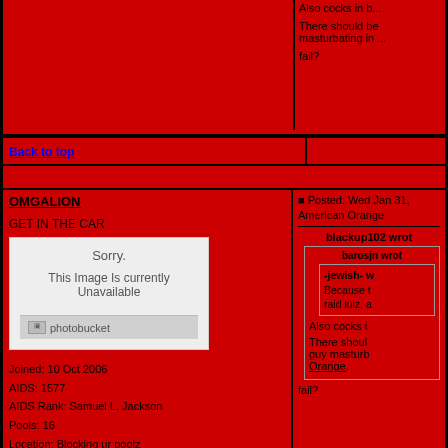Also cocks in b...
There should be masturbating in ...
fail?
Back to top
OMGALION
GET IN THE CAR
[Figure (screenshot): Broken photobucket image placeholder showing 'Sorry. This Image Is currently Unavailable' with photobucket logo]
Joined: 10 Oct 2006
AIDS: 1577
AIDS Rank: Samuel L. Jackson
Pools: 16
Location: Blocking ur poolz
Posted: Wed Jan 31,
American Orange
blackup102 wrot
barosjn wrot
-jewish- w
Because t raid lulz, a
Also cocks i
There shoul guy masturb Orange.
fail?